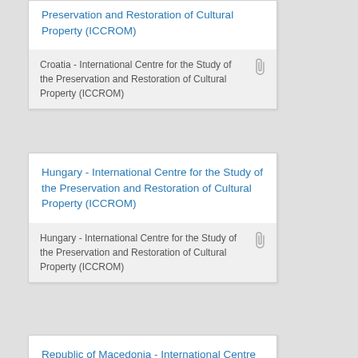Preservation and Restoration of Cultural Property (ICCROM)
Croatia - International Centre for the Study of the Preservation and Restoration of Cultural Property (ICCROM)
Hungary - International Centre for the Study of the Preservation and Restoration of Cultural Property (ICCROM)
Hungary - International Centre for the Study of the Preservation and Restoration of Cultural Property (ICCROM)
Republic of Macedonia - International Centre for the...